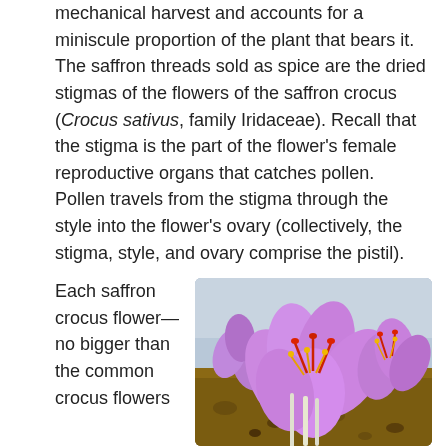mechanical harvest and accounts for a miniscule proportion of the plant that bears it. The saffron threads sold as spice are the dried stigmas of the flowers of the saffron crocus (Crocus sativus, family Iridaceae). Recall that the stigma is the part of the flower's female reproductive organs that catches pollen. Pollen travels from the stigma through the style into the flower's ovary (collectively, the stigma, style, and ovary comprise the pistil).
Each saffron crocus flower—no bigger than the common crocus flowers
[Figure (photo): Close-up photograph of saffron crocus flowers (Crocus sativus) with purple petals and red/orange stigmas and yellow stamens, growing from sandy soil.]